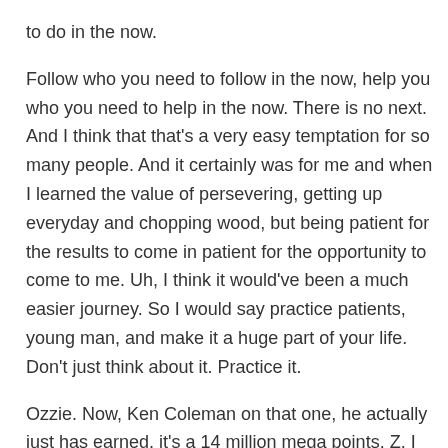to do in the now.
Follow who you need to follow in the now, help you who you need to help in the now. There is no next. And I think that that's a very easy temptation for so many people. And it certainly was for me and when I learned the value of persevering, getting up everyday and chopping wood, but being patient for the results to come in patient for the opportunity to come to me. Uh, I think it would've been a much easier journey. So I would say practice patients, young man, and make it a huge part of your life. Don't just think about it. Practice it.
Ozzie. Now, Ken Coleman on that one, he actually just has earned, it's a 14 million mega points. Z. I just got around 14 million mega points now Z, I've been talking to the panel of a, of unbiased podcasting, basically myself over here. And, um, we didn't like the delivery of your question. We liked his answer with the delivery. We found that to be offensive and pompous and
[inaudible]